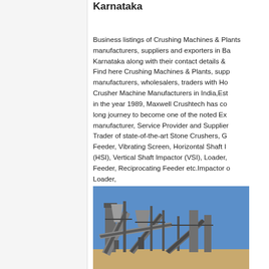Karnataka
Business listings of Crushing Machines & Plants manufacturers, suppliers and exporters in Ba... Karnataka along with their contact details & ... Find here Crushing Machines & Plants, supp... manufacturers, wholesalers, traders with Ho... Crusher Machine Manufacturers in India,Est... in the year 1989, Maxwell Crushtech has co... long journey to become one of the noted Ex... manufacturer, Service Provider and Supplier... Trader of state-of-the-art Stone Crushers, G... Feeder, Vibrating Screen, Horizontal Shaft I... (HSI), Vertical Shaft Impactor (VSI), Loader,... Feeder, Reciprocating Feeder etc.Impactor ... Loader,
[Figure (photo): 24Hrs Online chat widget with a woman wearing a headset, red header, dark grey bottom with 'Need questions & suggestion?' text and a red Chat Now button]
[Figure (photo): Photograph of a large industrial stone crushing plant with conveyor belts against a blue sky]